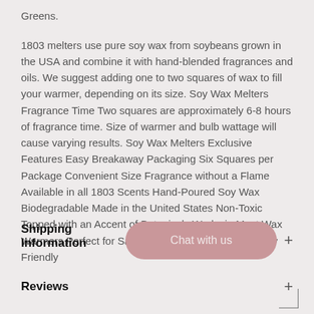Greens.
1803 melters use pure soy wax from soybeans grown in the USA and combine it with hand-blended fragrances and oils. We suggest adding one to two squares of wax to fill your warmer, depending on its size. Soy Wax Melters Fragrance Time Two squares are approximately 6-8 hours of fragrance time. Size of warmer and bulb wattage will cause varying results. Soy Wax Melters Exclusive Features Easy Breakaway Packaging Six Squares per Package Convenient Size Fragrance without a Flame Available in all 1803 Scents Hand-Poured Soy Wax Biodegradable Made in the United States Non-Toxic Topped with an Accent of Botanicals Works in Most Wax Warmers Perfect for Sampling a Scent Environmentally Friendly
Shipping Information
Reviews